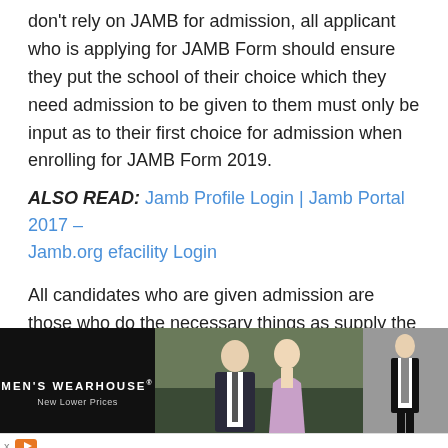don't rely on JAMB for admission, all applicant who is applying for JAMB Form should ensure they put the school of their choice which they need admission to be given to them must only be input as to their first choice for admission when enrolling for JAMB Form 2019.
ALSO READ: Jamb Profile Login | Jamb Portal 2017 – Jamb.org efacility Login
All candidates who are given admission are those who do the necessary things as supply the following requirement. If you are applying for any particular choice make sure you check the subject combination for the course you are applying for JAMB brochure.
[Figure (photo): Men's Wearhouse advertisement showing a couple in formal attire and a man in a tuxedo. Text reads MEN'S WEARHOUSE New Lower Prices.]